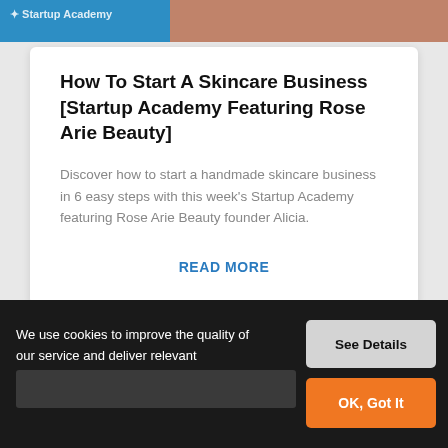[Figure (screenshot): Top image strip showing blue section with Startup Academy logo on left and a person on the right]
How To Start A Skincare Business [Startup Academy Featuring Rose Arie Beauty]
Discover how to start a handmade skincare business in 6 easy steps with this week’s Startup Academy featuring Rose Arie Beauty founder Alicia.
READ MORE
Get the inside scoop on new products, designs, promotions, and ...
We use cookies to improve the quality of our service and deliver relevant promotional material.
See Details
OK, Got It